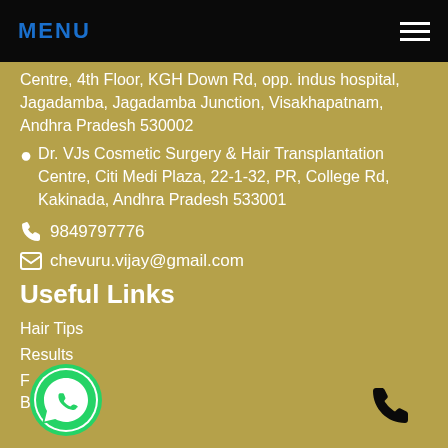MENU
Centre, 4th Floor, KGH Down Rd, opp. indus hospital, Jagadamba, Jagadamba Junction, Visakhapatnam, Andhra Pradesh 530002
Dr. VJs Cosmetic Surgery & Hair Transplantation Centre, Citi Medi Plaza, 22-1-32, PR, College Rd, Kakinada, Andhra Pradesh 533001
9849797776
chevuru.vijay@gmail.com
Useful Links
Hair Tips
Results
F
Blog
[Figure (logo): WhatsApp green circular logo at bottom left]
[Figure (other): Phone handset icon at bottom right]